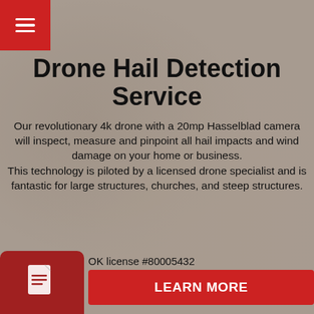[Figure (screenshot): Red hamburger menu button in top-left corner on a background photo of a drone]
Drone Hail Detection Service
Our revolutionary 4k drone with a 20mp Hasselblad camera will inspect, measure and pinpoint all hail impacts and wind damage on your home or business. This technology is piloted by a licensed drone specialist and is fantastic for large structures, churches, and steep structures.
OK license #80005432
LEARN MORE